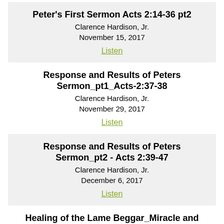Peter's First Sermon Acts 2:14-36 pt2
Clarence Hardison, Jr.
November 15, 2017
Listen
Response and Results of Peters Sermon_pt1_Acts-2:37-38
Clarence Hardison, Jr.
November 29, 2017
Listen
Response and Results of Peters Sermon_pt2 - Acts 2:39-47
Clarence Hardison, Jr.
December 6, 2017
Listen
Healing of the Lame Beggar_Miracle and Message - Acts 3:1-26
Clarence Hardison, Jr.
December 13, 2017
Listen